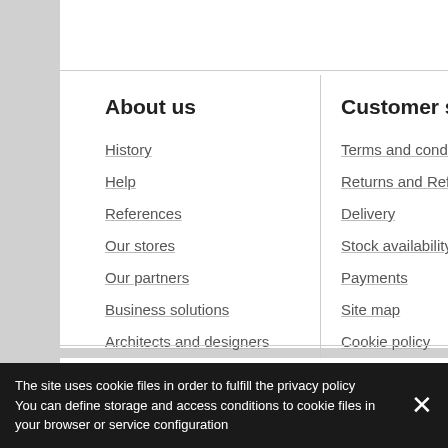About us
History
Help
References
Our stores
Our partners
Business solutions
Architects and designers
Customer services
Terms and conditions
Returns and Refunds
Delivery
Stock availability
Payments
Site map
Cookie policy
We accept payments:
[Figure (logo): VISA, MasterCard, Maestro, Discover payment card logos]
© tomo24.com 2014 All rights reserved
The site uses cookie files in order to fulfill the privacy policy
You can define storage and access conditions to cookie files in your browser or service configuration